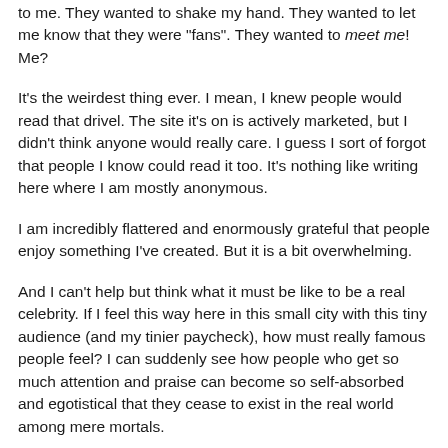to me. They wanted to shake my hand. They wanted to let me know that they were "fans". They wanted to meet me! Me?
It's the weirdest thing ever. I mean, I knew people would read that drivel. The site it's on is actively marketed, but I didn't think anyone would really care. I guess I sort of forgot that people I know could read it too. It's nothing like writing here where I am mostly anonymous.
I am incredibly flattered and enormously grateful that people enjoy something I've created. But it is a bit overwhelming.
And I can't help but think what it must be like to be a real celebrity. If I feel this way here in this small city with this tiny audience (and my tinier paycheck), how must really famous people feel? I can suddenly see how people who get so much attention and praise can become so self-absorbed and egotistical that they cease to exist in the real world among mere mortals.
Fame itself is like a drug, I suppose. Once you're addicted, it doesn't seem justifiable...